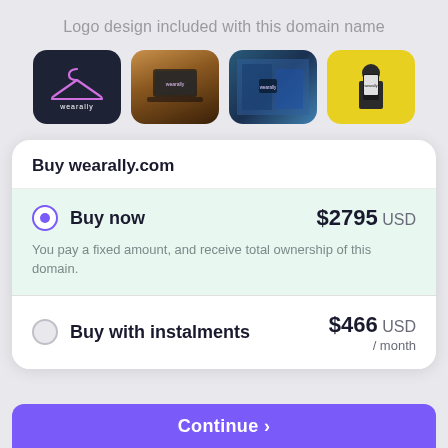Logo design included with this domain name
[Figure (illustration): Four logo mockups for wearally brand: dark background with hanger logo, laptop mockup, building/glass exterior mockup, person holding phone mockup]
Buy wearally.com
Buy now   $2795 USD
You pay a fixed amount, and receive total ownership of this domain.
Buy with instalments   $466 USD / month
Continue →